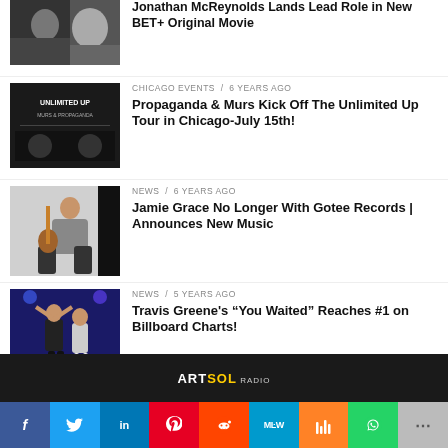[Figure (photo): Thumbnail image for first article (partially visible at top)]
Jonathan McReynolds Lands Lead Role in New BET+ Original Movie
[Figure (photo): Unlimited Up album cover - Murs & Propaganda]
CHICAGO EVENTS / 6 years ago
Propaganda & Murs Kick Off The Unlimited Up Tour in Chicago-July 15th!
[Figure (photo): Woman playing guitar]
NEWS / 6 years ago
Jamie Grace No Longer With Gotee Records | Announces New Music
[Figure (photo): Travis Greene at awards show]
NEWS / 5 years ago
Travis Greene's “You Waited” Reaches #1 on Billboard Charts!
ARTSOL RADIO | Social sharing bar: Facebook, Twitter, LinkedIn, Pinterest, Reddit, MeWe, Mix, WhatsApp, More